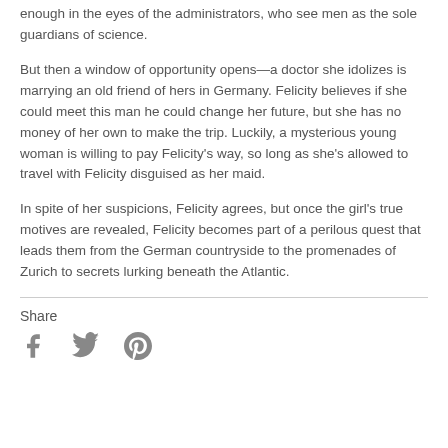enough in the eyes of the administrators, who see men as the sole guardians of science.
But then a window of opportunity opens—a doctor she idolizes is marrying an old friend of hers in Germany. Felicity believes if she could meet this man he could change her future, but she has no money of her own to make the trip. Luckily, a mysterious young woman is willing to pay Felicity's way, so long as she's allowed to travel with Felicity disguised as her maid.
In spite of her suspicions, Felicity agrees, but once the girl's true motives are revealed, Felicity becomes part of a perilous quest that leads them from the German countryside to the promenades of Zurich to secrets lurking beneath the Atlantic.
Share
[Figure (illustration): Social media share icons: Facebook (f), Twitter (bird), Pinterest (p)]